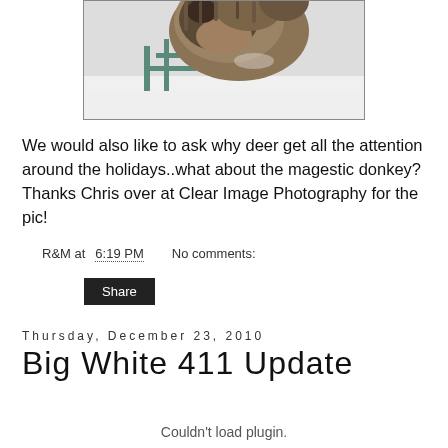[Figure (photo): Photo of a donkey looking at camera, taken in a snowy winter setting, with a fence visible. Shown as a cropped image with border.]
We would also like to ask why deer get all the attention around the holidays..what about the magestic donkey? Thanks Chris over at Clear Image Photography for the pic!
R&M at 6:19 PM    No comments:
Share
Thursday, December 23, 2010
Big White 411 Update
Couldn't load plugin.